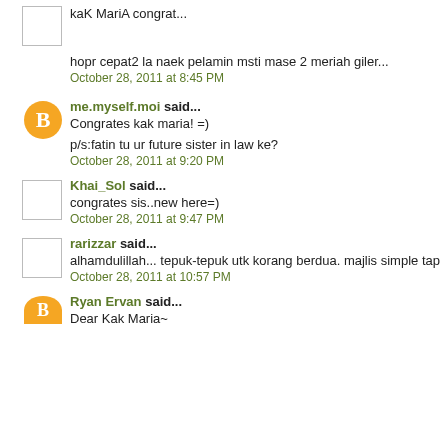kaK MariA congrat...
hopr cepat2 la naek pelamin msti mase 2 meriah giler...
October 28, 2011 at 8:45 PM
me.myself.moi said...
Congrates kak maria! =)
p/s:fatin tu ur future sister in law ke?
October 28, 2011 at 9:20 PM
Khai_Sol said...
congrates sis..new here=)
October 28, 2011 at 9:47 PM
rarizzar said...
alhamdulillah... tepuk-tepuk utk korang berdua. majlis simple tap
October 28, 2011 at 10:57 PM
Ryan Ervan said...
Dear Kak Maria~